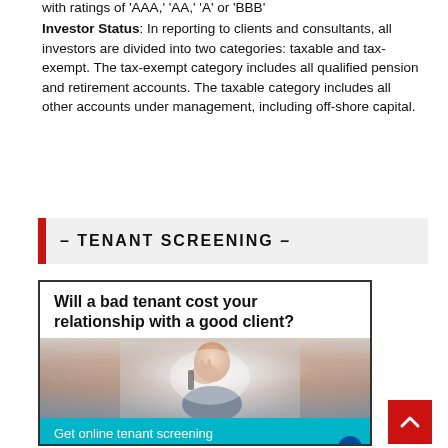with ratings of 'AAA,' 'AA,' 'A' or 'BBB'
Investor Status: In reporting to clients and consultants, all investors are divided into two categories: taxable and tax-exempt. The tax-exempt category includes all qualified pension and retirement accounts. The taxable category includes all other accounts under management, including off-shore capital.
– TENANT SCREENING –
[Figure (photo): Advertisement showing a distressed man holding a phone to his ear with text 'Will a bad tenant cost your relationship with a good client?' and footer 'Get online tenant screening through our trusted partner.' with TransUnion logo]